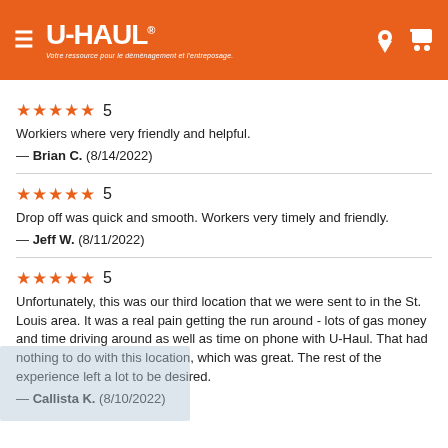U-HAUL® — Votre ressource pour le déménagement et l'entreposage.
★★★★★ 5
Workiers where very friendly and helpful.
— Brian C.  (8/14/2022)
★★★★★ 5
Drop off was quick and smooth. Workers very timely and friendly.
— Jeff W.  (8/11/2022)
★★★★★ 5
Unfortunately, this was our third location that we were sent to in the St. Louis area. It was a real pain getting the run around - lots of gas money and time driving around as well as time on phone with U-Haul. That had nothing to do with this location, which was great. The rest of the experience left a lot to be desired.
— Callista K.  (8/10/2022)